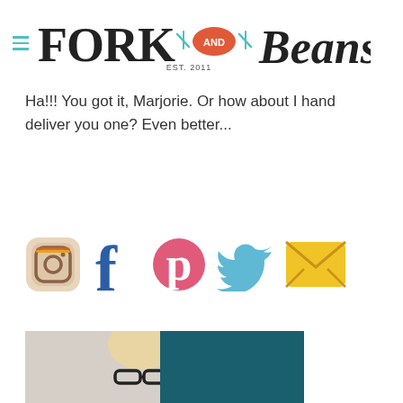Fork and Beans — Est. 2011
Ha!!! You got it, Marjorie. Or how about I hand deliver you one? Even better...
[Figure (illustration): Row of social media icons: Instagram camera, Facebook f, Pinterest P, Twitter bird, Email envelope]
[Figure (photo): Partial photo of a person with blonde hair and black glasses against a dark teal background]